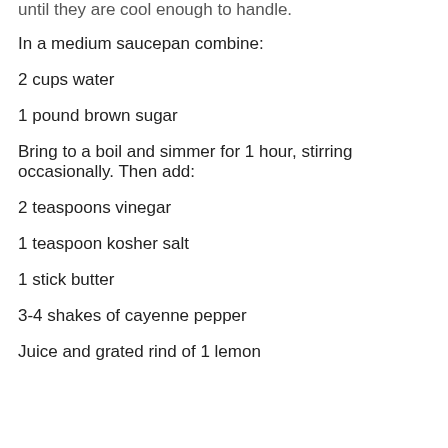until they are cool enough to handle.
In a medium saucepan combine:
2 cups water
1 pound brown sugar
Bring to a boil and simmer for 1 hour, stirring occasionally. Then add:
2 teaspoons vinegar
1 teaspoon kosher salt
1 stick butter
3-4 shakes of cayenne pepper
Juice and grated rind of 1 lemon